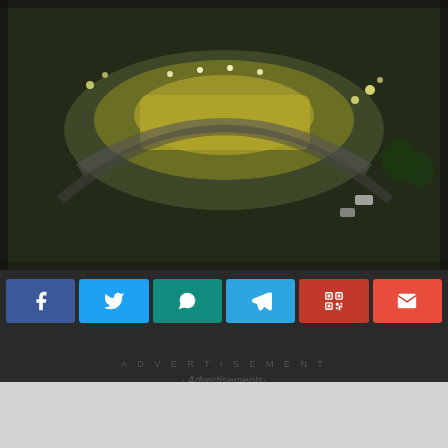[Figure (photo): Aerial night view of an international airport with illuminated terminal and surrounding road infrastructure]
[Figure (infographic): Social share buttons row: Facebook (blue), Twitter (light blue), WhatsApp (teal), Telegram (sky blue), QR code (dark red), Email (red)]
ADVERTISEMENT
· Advertisements·
An international airport is an airport with customs and border control facilities enabling passengers to travel